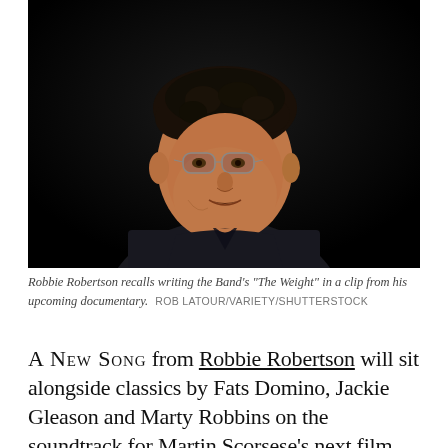[Figure (photo): Portrait photo of Robbie Robertson against a dark background, wearing glasses and a dark jacket, looking slightly upward to the right.]
Robbie Robertson recalls writing the Band's "The Weight" in a clip from his upcoming documentary. ROB LATOUR/VARIETY/SHUTTERSTOCK
A NEW SONG from Robbie Robertson will sit alongside classics by Fats Domino, Jackie Gleason and Marty Robbins on the soundtrack for Martin Scorsese's next film, The Irishman. The film opens in theaters today, November 1st